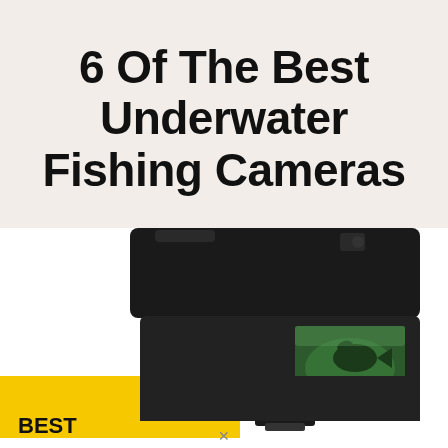6 Of The Best Underwater Fishing Cameras
[Figure (photo): Photo of an underwater fishing camera device with a black body and a screen showing an underwater image of a fish, alongside a yellow book/guide cover labeled 'BEST UNDERWATER FISHING CAMERAS - Reviews and Buyers Guide']